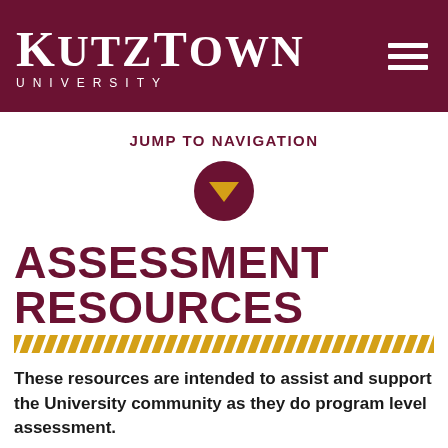[Figure (logo): Kutztown University logo — white text on dark maroon header bar. Large serif 'KUTZTOWN' with spaced-letter 'UNIVERSITY' below. Hamburger menu icon top right.]
JUMP TO NAVIGATION
[Figure (illustration): Dark maroon circle with a gold/yellow downward-pointing triangle (play/dropdown arrow) in center.]
ASSESSMENT RESOURCES
[Figure (illustration): Decorative gold diagonal stripe/zigzag divider line.]
These resources are intended to assist and support the University community as they do program level assessment.